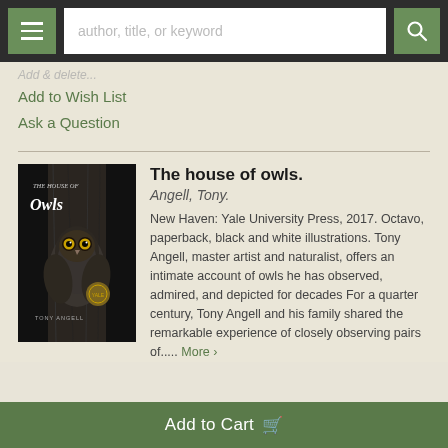author, title, or keyword
Add to Wish List
Ask a Question
[Figure (photo): Book cover of 'The House of Owls' by Tony Angell, showing an owl perched against a dark tree trunk, published by Yale University Press]
The house of owls.
Angell, Tony.
New Haven: Yale University Press, 2017. Octavo, paperback, black and white illustrations. Tony Angell, master artist and naturalist, offers an intimate account of owls he has observed, admired, and depicted for decades For a quarter century, Tony Angell and his family shared the remarkable experience of closely observing pairs of..... More ›
Add to Cart